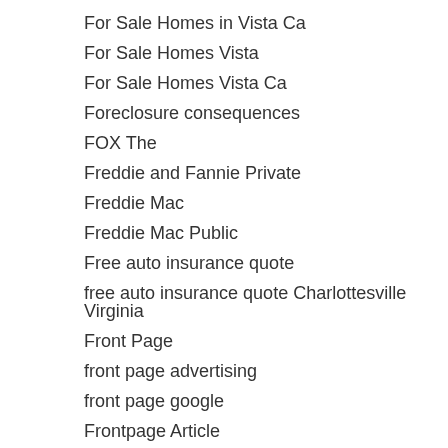For Sale Homes in Vista Ca
For Sale Homes Vista
For Sale Homes Vista Ca
Foreclosure consequences
FOX The
Freddie and Fannie Private
Freddie Mac
Freddie Mac Public
Free auto insurance quote
free auto insurance quote Charlottesville Virginia
Front Page
front page advertising
front page google
Frontpage Article
Furnace Repair
Furnace Repair Arcilla
Furnace Repair El Caion